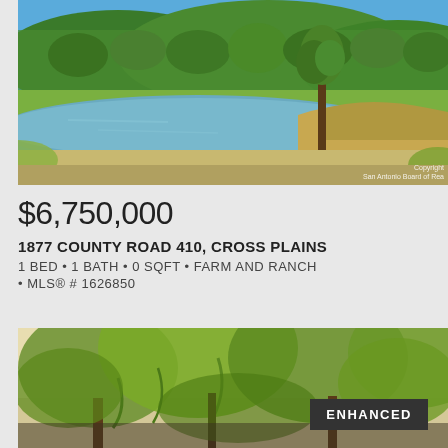[Figure (photo): Landscape photo showing a pond or small lake with trees and green hillside in the background, summer scene with blue sky]
$6,750,000
1877 COUNTY ROAD 410, CROSS PLAINS
1 BED • 1 BATH • 0 SQFT • FARM AND RANCH
• MLS® # 1626850
[Figure (photo): Outdoor nature photo with trees and foliage, an ENHANCED badge overlay in lower right]